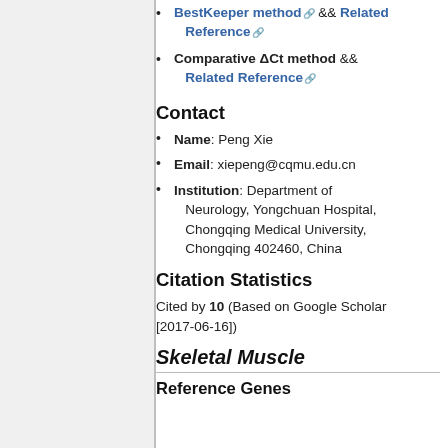BestKeeper method && Related Reference
Comparative ΔCt method && Related Reference
Contact
Name: Peng Xie
Email: xiepeng@cqmu.edu.cn
Institution: Department of Neurology, Yongchuan Hospital, Chongqing Medical University, Chongqing 402460, China
Citation Statistics
Cited by 10 (Based on Google Scholar [2017-06-16])
Skeletal Muscle
Reference Genes